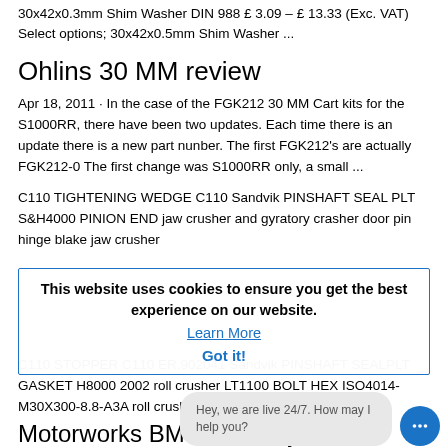30x42x0.3mm Shim Washer DIN 988 £ 3.09 – £ 13.33 (Exc. VAT) Select options; 30x42x0.5mm Shim Washer ...
Ohlins 30 MM review
Apr 18, 2011 · In the case of the FGK212 30 MM Cart kits for the S1000RR, there have been two updates. Each time there is an update there is a new part nunber. The first FGK212's are actually FGK212-0 The first change was S1000RR only, a small ...
C110 TIGHTENING WEDGE C110 Sandvik PINSHAFT SEAL PLT S&H4000 PINION END jaw crusher and gyratory crasher door pin hinge blake jaw crusher
This website uses cookies to ensure you get the best experience on our website.
Learn More
C110 STOPPER C110 ER.902041 Sandvik PINSHAFT SEALPLT GASKET H8000 2002 roll crusher LT1100 BOLT HEX ISO4014-M30X300-8.8-A3A roll crusher for sale.
Got it!
Hey, we are live 24/7. How may I help you?
Motorworks BMW Motorcycle Specialists